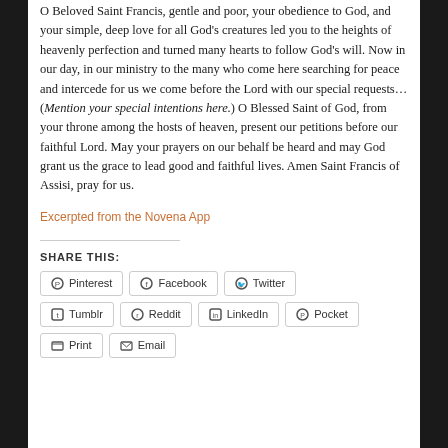O Beloved Saint Francis, gentle and poor, your obedience to God, and your simple, deep love for all God's creatures led you to the heights of heavenly perfection and turned many hearts to follow God's will. Now in our day, in our ministry to the many who come here searching for peace and intercede for us we come before the Lord with our special requests… (Mention your special intentions here.) O Blessed Saint of God, from your throne among the hosts of heaven, present our petitions before our faithful Lord. May your prayers on our behalf be heard and may God grant us the grace to lead good and faithful lives. Amen Saint Francis of Assisi, pray for us.
Excerpted from the Novena App
SHARE THIS:
Pinterest  Facebook  Twitter  Tumblr  Reddit  LinkedIn  Pocket  Print  Email